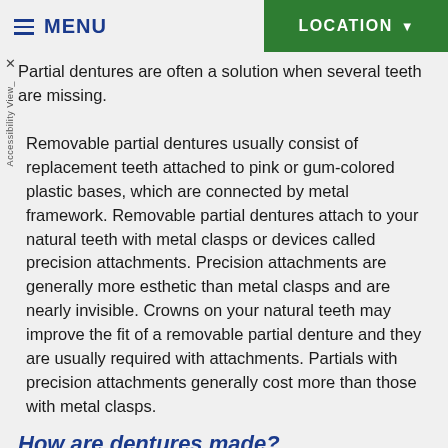MENU | LOCATION
Partial dentures are often a solution when several teeth are missing.
Removable partial dentures usually consist of replacement teeth attached to pink or gum-colored plastic bases, which are connected by metal framework. Removable partial dentures attach to your natural teeth with metal clasps or devices called precision attachments. Precision attachments are generally more esthetic than metal clasps and are nearly invisible. Crowns on your natural teeth may improve the fit of a removable partial denture and they are usually required with attachments. Partials with precision attachments generally cost more than those with metal clasps.
How are dentures made?